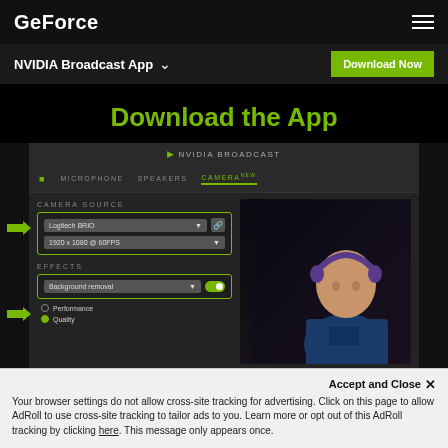GeForce
NVIDIA Broadcast App   Download Now
Download the App
[Figure (screenshot): NVIDIA Broadcast App UI screenshot showing Camera Source with Logitech BRIO dropdown at 1920x1080 @ 60FPS, and Effects section with Background removal toggle enabled, with Performance and Quality radio options. A person wearing headphones is partially visible on the right side.]
Accept and Close ✕
Your browser settings do not allow cross-site tracking for advertising. Click on this page to allow AdRoll to use cross-site tracking to tailor ads to you. Learn more or opt out of this AdRoll tracking by clicking here. This message only appears once.